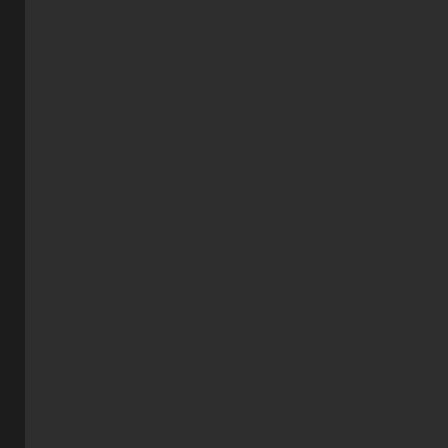The peo that stay beh in the old cou by the way will bec poo as the rest of thei bes and brig leav and